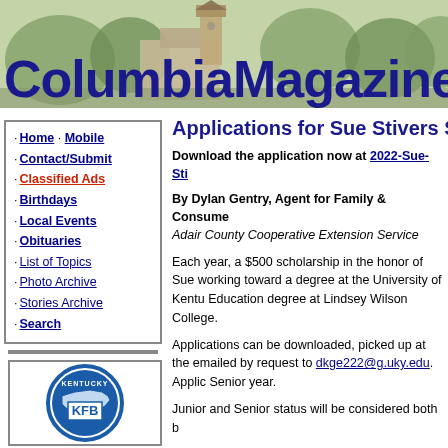[Figure (illustration): ColumbiaMagazine.com website header banner with clock tower building silhouette and green trees in background]
Applications for Sue Stivers Sc
Download the application now at 2022-Sue-Sti
By Dylan Gentry, Agent for Family & Consume
Adair County Cooperative Extension Service
Each year, a $500 scholarship in the honor of Sue working toward a degree at the University of Kentu Education degree at Lindsey Wilson College.
Applications can be downloaded, picked up at the emailed by request to dkge222@g.uky.edu. Applic Senior year.
Junior and Senior status will be considered both b
Completed applications, with transcripts, must be must be emailed. Paper applications may be picke during normal operating hours. Questions can be Consumer Sciences.
· Home · Mobile
· Contact/Submit
· Classified Ads
· Birthdays
· Local Events
· Obituaries
· List of Topics
· Photo Archive
· Stories Archive
· Search
[Figure (logo): Kentucky Farm Bureau (KFB) circular logo with blue and white colors and Kentucky state outline]